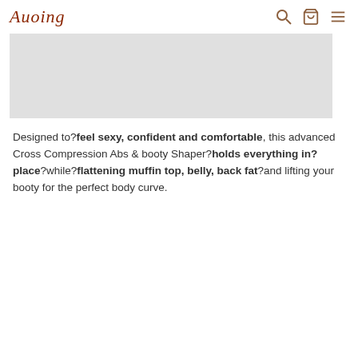Auoing
[Figure (photo): Light gray rectangular image placeholder, likely a product photo area]
Designed to?feel sexy, confident and comfortable, this advanced Cross Compression Abs & booty Shaper?holds everything in?place?while?flattening muffin top, belly, back fat?and lifting your booty for the perfect body curve.